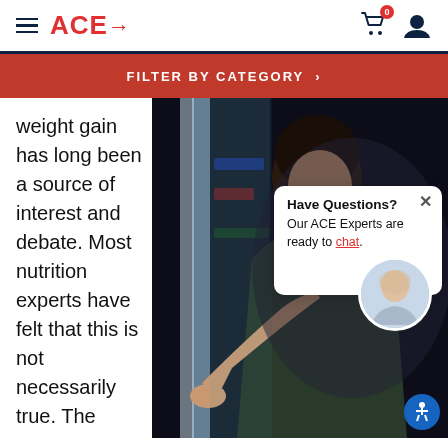ACE
FILTER BY CATEGORY >
weight gain has long been a source of interest and debate. Most nutrition experts have felt that this is not necessarily true. The common teaching is that if people eat
[Figure (photo): Person looking into a refrigerator at night, dark moody lighting]
Have Questions? Our ACE Experts are ready to chat.